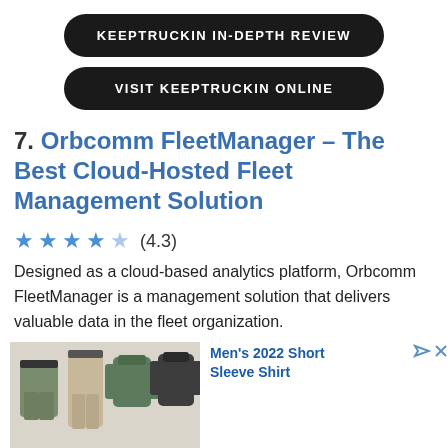KEEPTRUCKIN IN-DEPTH REVIEW
VISIT KEEPTRUCKIN ONLINE
7. Orbcomm FleetManager – The Best Cloud-Hosted Fleet Management Solution
(4.3)
Designed as a cloud-based analytics platform, Orbcomm FleetManager is a management solution that delivers valuable data in the fleet organization.
[Figure (photo): Advertisement showing men's clothing items including shorts, pants, and shirts in military/outdoor style]
Men's 2022 Short Sleeve Shirt
Ad